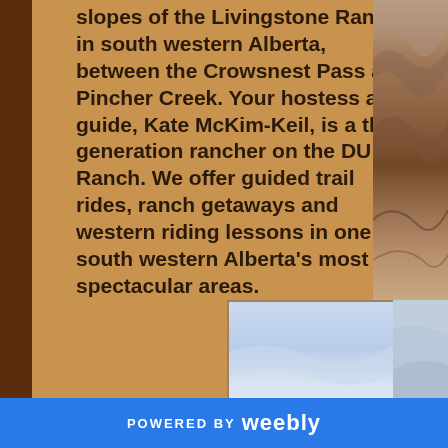slopes of the Livingstone Range in south western Alberta, between the Crowsnest Pass and Pincher Creek. Your hostess and guide, Kate McKim-Keil, is a third generation rancher on the DU Ranch. We offer guided trail rides, ranch getaways and western riding lessons in one of south western Alberta's most spectacular areas.
[Figure (photo): Partial view of rocky cliff face on the right side of the page]
[Figure (photo): Landscape photo showing a pale blue sky at the bottom of the page]
POWERED BY weebly